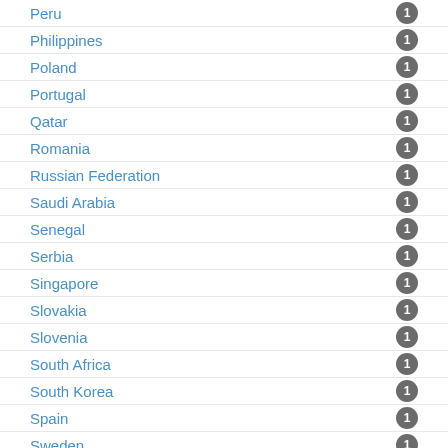Peru — 1
Philippines — 1
Poland — 1
Portugal — 1
Qatar — 1
Romania — 1
Russian Federation — 1
Saudi Arabia — 1
Senegal — 1
Serbia — 1
Singapore — 1
Slovakia — 1
Slovenia — 1
South Africa — 1
South Korea — 1
Spain — 1
Sweden — 1
Switzerland — 1